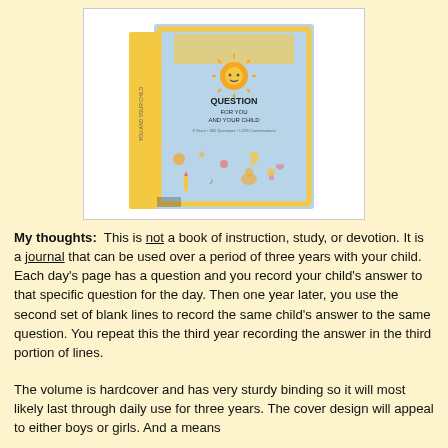[Figure (photo): A book titled 'Daily Question for You and Your Child' shown in a white-bordered box. The book cover has a light blue background with illustrated children's icons and an orange sun/face graphic. The book spine is yellow with text reading 'YOU AND YOUR CHILD'.]
My thoughts:  This is not a book of instruction, study, or devotion. It is a journal that can be used over a period of three years with your child. Each day's page has a question and you record your child's answer to that specific question for the day. Then one year later, you use the second set of blank lines to record the same child's answer to the same question. You repeat this the third year recording the answer in the third portion of lines.
The volume is hardcover and has very sturdy binding so it will most likely last through daily use for three years. The cover design will appeal to either boys or girls. And a means